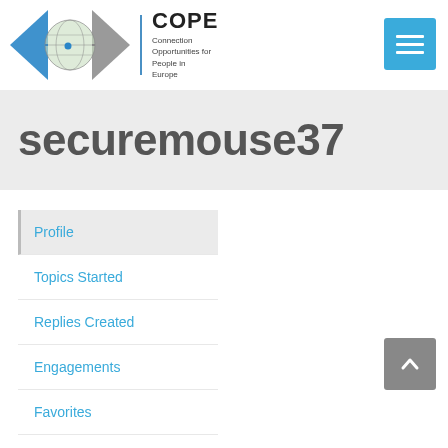[Figure (logo): COPE logo with diamond/eye shape in blue and grey, globe graphic, and text 'COPE Connection Opportunities for People in Europe']
securemouse37
Profile
Topics Started
Replies Created
Engagements
Favorites